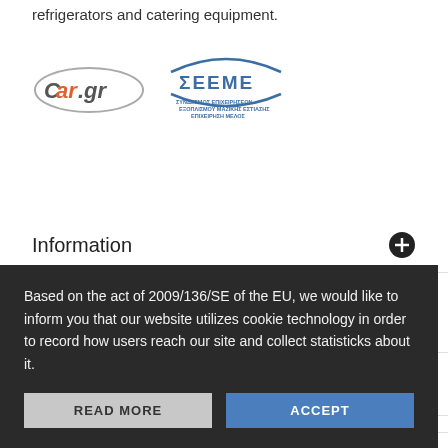refrigerators and catering equipment.
[Figure (logo): Car.gr logo and ΣΕΕΜΕ (Greek food equipment association) logos side by side]
Information
My account
Store Information
© 2 ... GLASS
Based on the act of 2009/136/SE of the EU, we would like to inform you that our website utilizes cookie technology in order to record how users reach our site and collect statisticks about it.
READ MORE   ACCEPT